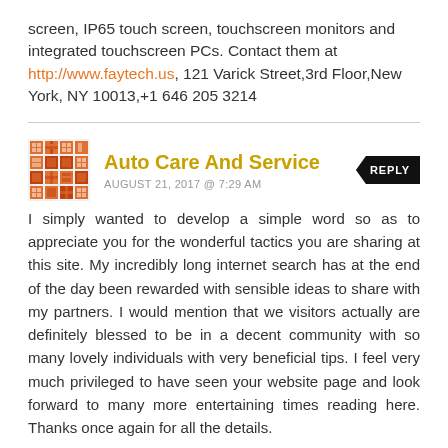screen, IP65 touch screen, touchscreen monitors and integrated touchscreen PCs. Contact them at http://www.faytech.us, 121 Varick Street,3rd Floor,New York, NY 10013,+1 646 205 3214
Auto Care And Service — AUGUST 21, 2017 @ 7:29 AM
I simply wanted to develop a simple word so as to appreciate you for the wonderful tactics you are sharing at this site. My incredibly long internet search has at the end of the day been rewarded with sensible ideas to share with my partners. I would mention that we visitors actually are definitely blessed to be in a decent community with so many lovely individuals with very beneficial tips. I feel very much privileged to have seen your website page and look forward to many more entertaining times reading here. Thanks once again for all the details.